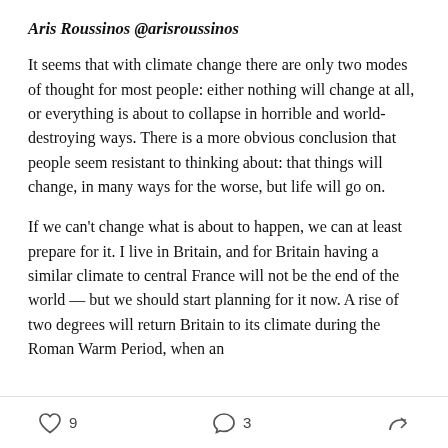Aris Roussinos @arisroussinos
It seems that with climate change there are only two modes of thought for most people: either nothing will change at all, or everything is about to collapse in horrible and world-destroying ways. There is a more obvious conclusion that people seem resistant to thinking about: that things will change, in many ways for the worse, but life will go on.
If we can’t change what is about to happen, we can at least prepare for it. I live in Britain, and for Britain having a similar climate to central France will not be the end of the world — but we should start planning for it now. A rise of two degrees will return Britain to its climate during the Roman Warm Period, when an
9   3